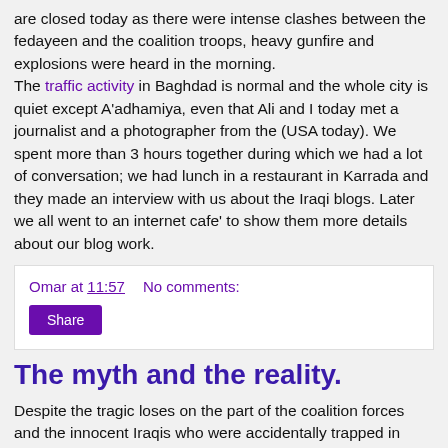are closed today as there were intense clashes between the fedayeen and the coalition troops, heavy gunfire and explosions were heard in the morning. The traffic activity in Baghdad is normal and the whole city is quiet except A'adhamiya, even that Ali and I today met a journalist and a photographer from the (USA today). We spent more than 3 hours together during which we had a lot of conversation; we had lunch in a restaurant in Karrada and they made an interview with us about the Iraqi blogs. Later we all went to an internet cafe' to show them more details about our blog work.
Omar at 11:57   No comments:
Share
The myth and the reality.
Despite the tragic loses on the part of the coalition forces and the innocent Iraqis who were accidentally trapped in